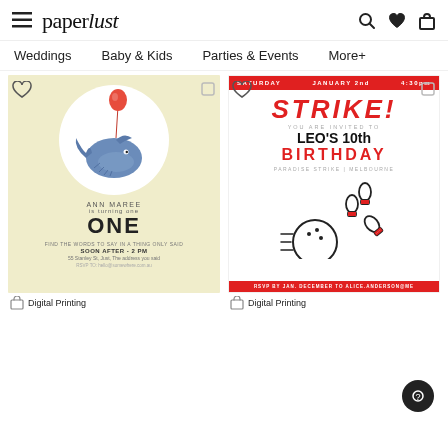paperlust — Weddings | Baby & Kids | Parties & Events | More+
[Figure (screenshot): Whale birthday invitation card on yellow background with red balloon and text: ANN MAREE is turning one ONE, with date/time/venue details]
[Figure (screenshot): Bowling birthday invitation: STRIKE! LEO'S 10th BIRTHDAY, SATURDAY JANUARY 2nd 4:30pm, red header and footer, bowling pins and ball illustration]
Digital Printing
Digital Printing